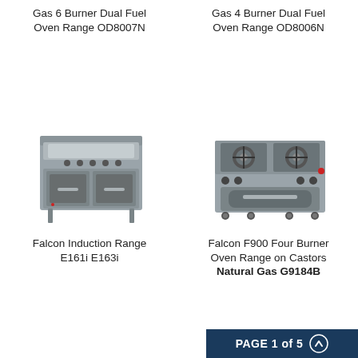Gas 6 Burner Dual Fuel Oven Range OD8007N
Gas 4 Burner Dual Fuel Oven Range OD8006N
[Figure (photo): Falcon Induction Range E161i E163i — stainless steel range with smooth ceramic top and double oven doors with glass windows, on legs]
[Figure (photo): Falcon F900 Four Burner Oven Range on Castors Natural Gas G9184B — stainless steel four burner gas range with single large oven on castors]
Falcon Induction Range E161i E163i
Falcon F900 Four Burner Oven Range on Castors Natural Gas G9184B
PAGE 1 of 5